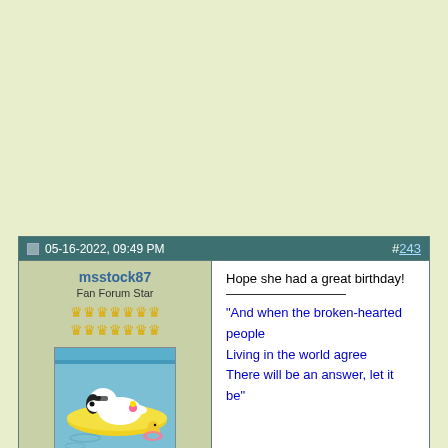05-16-2022, 09:49 PM  #243
msstock87
Fan Forum Star
[Figure (illustration): Snoopy lying on a yellow inflatable float in water, with Woodstock nearby on a pink ring float]
Moderator of
Hope she had a great birthday!
"And when the broken-hearted people Living in the world agree There will be an answer, let it be"